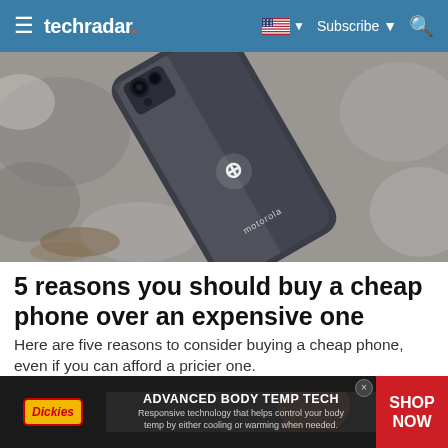techradar | Subscribe | Search
[Figure (photo): A Motorola smartphone lying face-down on a concrete/stone surface, showing the back of the device with the Motorola batwing logo and 'motorola' branding. The phone has a camera module in the top-left corner.]
5 reasons you should buy a cheap phone over an expensive one
Here are five reasons to consider buying a cheap phone, even if you can afford a pricier one.
TechRadar
[Figure (advertisement): Dickies brand advertisement banner with text 'ADVANCED BODY TEMP TECH' and subtext 'Responsive technology that helps control your body temp by either cooling or warming when needed.' with a SHOP NOW button in red.]